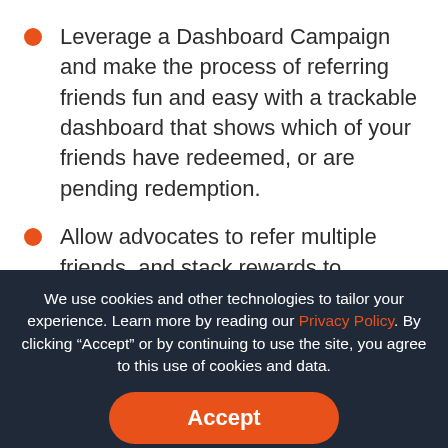Leverage a Dashboard Campaign and make the process of referring friends fun and easy with a trackable dashboard that shows which of your friends have redeemed, or are pending redemption.
Allow advocates to refer multiple friends, and stack rewards to redeem for higher value incentives and ultimately increase customer LTV.
We use cookies and other technologies to tailor your experience. Learn more by reading our Privacy Policy. By clicking “Accept” or by continuing to use the site, you agree to this use of cookies and data.
[Figure (screenshot): Dark overlay with cookie consent dialog over a blurred background showing a 'Share & Win' promotional image]